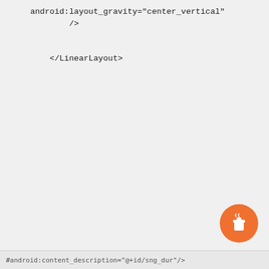android:layout_gravity="center_vertical"
            />
        <TextView
            android:layout_width="wrap_content"
            android:layout_height="wrap_content"
            android:textColor="@color/green_500"
            android:layout_margin="@dimen/appbar_padd:
            android:layout_gravity="center_vertical"
            android:id="@+id/sng_name"/>
        <View
            android:layout_width="60dp"
            android:layout_height="2dp"
            android:layout_gravity="center_vertical"/:

        <TextView
            android:layout_width="wrap_content"
            android:layout_height="wrap_content"
            android:textColor="@color/red_500"
            android:layout_margin="@dimen/appbar_padd:
            android:layout_gravity="center_vertical"
            android:id="@+id/sng_dur"/>
        </LinearLayout>
android:content_description="@+id/sng_dur"/>